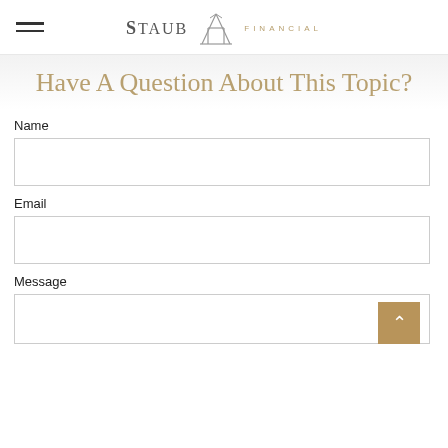Staub Financial
Have A Question About This Topic?
Name
Email
Message